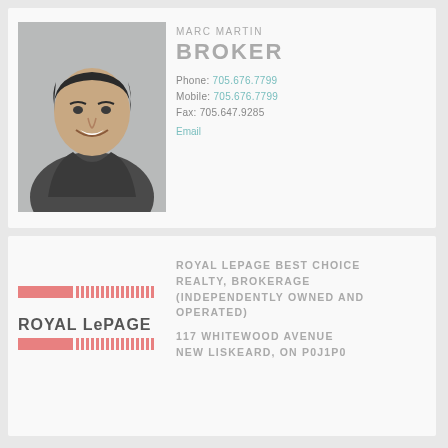[Figure (photo): Headshot photo of Marc Martin, a man in a dark jacket, smiling]
MARC MARTIN
BROKER
Phone: 705.676.7799
Mobile: 705.676.7799
Fax: 705.647.9285
Email
[Figure (logo): Royal LePage logo with pink/red horizontal bars and text]
ROYAL LEPAGE BEST CHOICE REALTY, BROKERAGE (INDEPENDENTLY OWNED AND OPERATED)
117 WHITEWOOD AVENUE
New Liskeard, ON P0J1P0